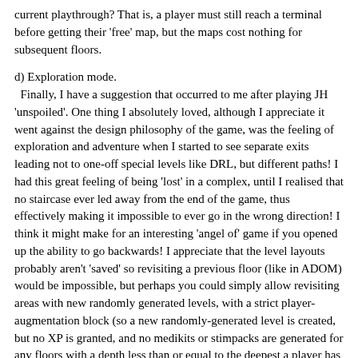current playthrough? That is, a player must still reach a terminal before getting their 'free' map, but the maps cost nothing for subsequent floors.
d) Exploration mode.
Finally, I have a suggestion that occurred to me after playing JH 'unspoiled'. One thing I absolutely loved, although I appreciate it went against the design philosophy of the game, was the feeling of exploration and adventure when I started to see separate exits leading not to one-off special levels like DRL, but different paths! I had this great feeling of being 'lost' in a complex, until I realised that no staircase ever led away from the end of the game, thus effectively making it impossible to ever go in the wrong direction! I think it might make for an interesting 'angel of' game if you opened up the ability to go backwards! I appreciate that the level layouts probably aren't 'saved' so revisiting a previous floor (like in ADOM) would be impossible, but perhaps you could simply allow revisiting areas with new randomly generated levels, with a strict player-augmentation block (so a new randomly-generated level is created, but no XP is granted, and no medikits or stimpacks are generated for any floors with a depth less than or equal to the deepest a player has previously visited). This 'exploration mode' might be a fun equivalent to the 'angel of 100' game types, where a player could really go deep in exploring, without things getting too easy from stockpiling resources and experience.